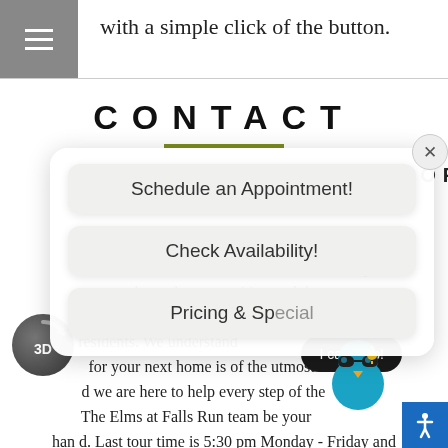with a simple click of the button.
CONTACT
CONTACT OUR OFFICE TODAY!
– Schedule an Appointment!
Here at The Elms at Falls Run we stand a step above the competition and the service we provide to our prospective residents. We understand that choosing for your next home is of the utmost importance, and we are here to help every step of the way. Let The Elms at Falls Run team be your helping hand. Last tour time is 5:30 pm Monday - Friday and 4:30 pm Saturday.
[Figure (screenshot): Popup overlay with three buttons: Schedule an Appointment!, Check Availability!, Pricing & Special. Close button top right. Mascot cartoon character (cool duck/bird with sunglasses). 3D tour button bottom left. I can help! button bottom right. Accessibility button bottom far right.]